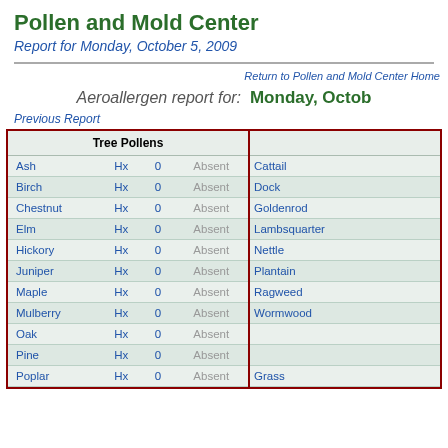Pollen and Mold Center
Report for Monday, October 5, 2009
Return to Pollen and Mold Center Home
Aeroallergen report for: Monday, October 5, 2009
Previous Report
| Tree Pollens |  |  |  |
| --- | --- | --- | --- |
| Ash | Hx | 0 | Absent |
| Birch | Hx | 0 | Absent |
| Chestnut | Hx | 0 | Absent |
| Elm | Hx | 0 | Absent |
| Hickory | Hx | 0 | Absent |
| Juniper | Hx | 0 | Absent |
| Maple | Hx | 0 | Absent |
| Mulberry | Hx | 0 | Absent |
| Oak | Hx | 0 | Absent |
| Pine | Hx | 0 | Absent |
| Poplar | Hx | 0 | Absent |
|  |
| --- |
| Cattail |
| Dock |
| Goldenrod |
| Lambsquarter |
| Nettle |
| Plantain |
| Ragweed |
| Wormwood |
|  |
|  |
| Grass |